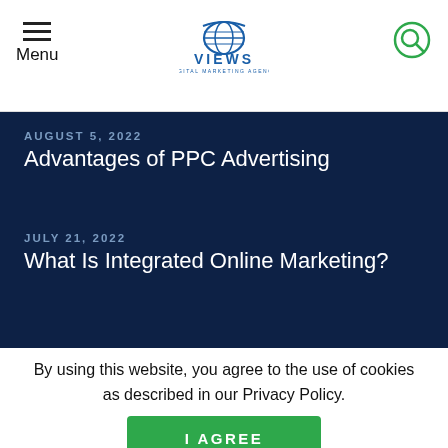Menu | VIEWS Digital Marketing Agency | Search
AUGUST 5, 2022 — Advantages of PPC Advertising
JULY 21, 2022 — What Is Integrated Online Marketing?
JULY 7, 2022
SITEMAP | PRIVACY POLICY
By using this website, you agree to the use of cookies as described in our Privacy Policy.
I AGREE